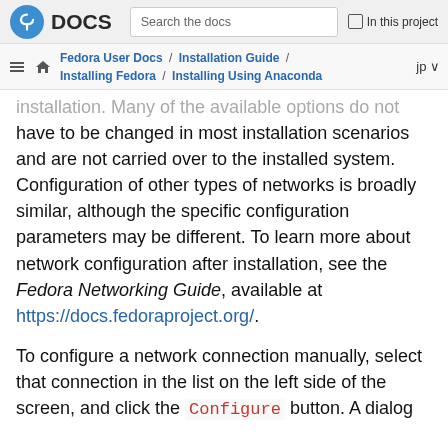Fedora DOCS | Search the docs | In this project
Fedora User Docs / Installation Guide / Installing Fedora / Installing Using Anaconda | jp
installation. Many of the available options do not have to be changed in most installation scenarios and are not carried over to the installed system. Configuration of other types of networks is broadly similar, although the specific configuration parameters may be different. To learn more about network configuration after installation, see the Fedora Networking Guide, available at https://docs.fedoraproject.org/.
To configure a network connection manually, select that connection in the list on the left side of the screen, and click the Configure button. A dialog